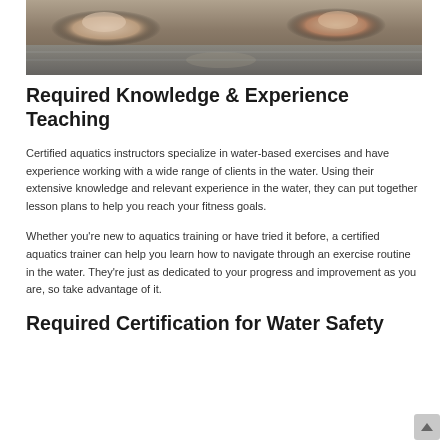[Figure (photo): Photo of people swimming in open water, viewed from above showing swimmers and water surface]
Required Knowledge & Experience Teaching
Certified aquatics instructors specialize in water-based exercises and have experience working with a wide range of clients in the water. Using their extensive knowledge and relevant experience in the water, they can put together lesson plans to help you reach your fitness goals.
Whether you're new to aquatics training or have tried it before, a certified aquatics trainer can help you learn how to navigate through an exercise routine in the water. They're just as dedicated to your progress and improvement as you are, so take advantage of it.
Required Certification for Water Safety